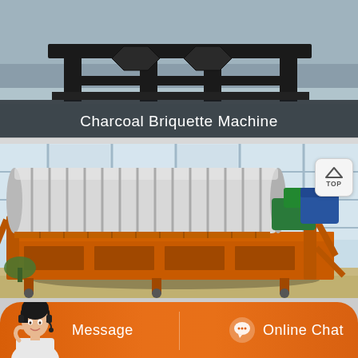[Figure (photo): Dark industrial machine frame (charcoal briquette machine) photographed on a road/outdoor area, with white text overlay 'Charcoal Briquette Machine' at the bottom of the image.]
Charcoal Briquette Machine
[Figure (photo): Large orange industrial magnetic separator machine with a silver/grey ribbed cylindrical drum on top, photographed outdoors with a glass building facade in the background. A green and blue motor is visible on the right side.]
[Figure (other): TOP navigation button — small rounded square button with an upward-pointing triangle icon and 'TOP' text below it.]
Message
Online Chat